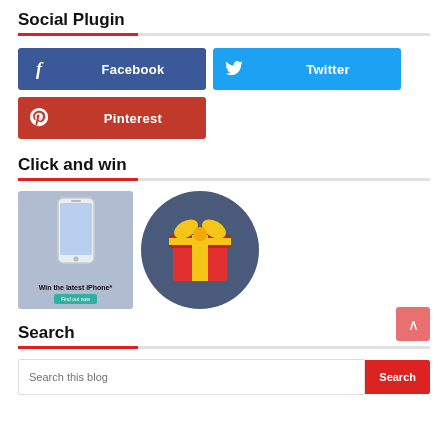Social Plugin
[Figure (infographic): Social share buttons: Facebook (dark blue), Twitter (cyan/blue), Pinterest (red)]
Click and win
[Figure (infographic): Win the latest iPhone banner image and a gift box icon on a dark blue circle background]
Search
[Figure (other): Search bar with placeholder 'Search this blog' and a red Search button, plus a scroll-to-top button]